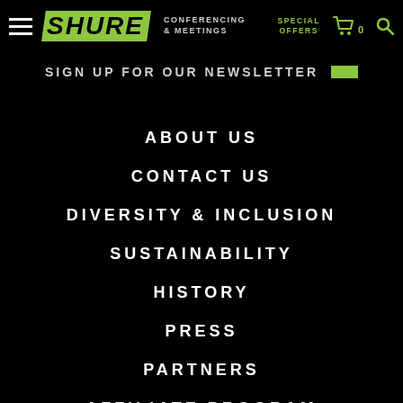SHURE | CONFERENCING & MEETINGS | SPECIAL OFFERS
SIGN UP FOR OUR NEWSLETTER
ABOUT US
CONTACT US
DIVERSITY & INCLUSION
SUSTAINABILITY
HISTORY
PRESS
PARTNERS
AFFILIATE PROGRAM